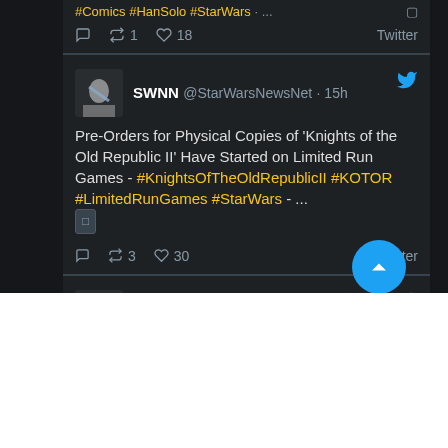#Comics #HanSolo #StarWars · ...
reply 1  retweet 1  like 18  Twitter
SWNN @StarWarsNewsNet · 15h
Pre-Orders for Physical Copies of 'Knights of the Old Republic II' Have Started on Limited Run Games - #KnightsOfTheOldRepublicII #KOTOR #LimitedRunGames #StarWars - ...
reply  retweet 3  like 30  Twitter
SWNN @StarWarsNewsNet · 19 Aug
New 'Star Wars Jedi' Books Announced; Original Novel to Bridge the Gap Between the Games - #StarWars #StarWarsBooks